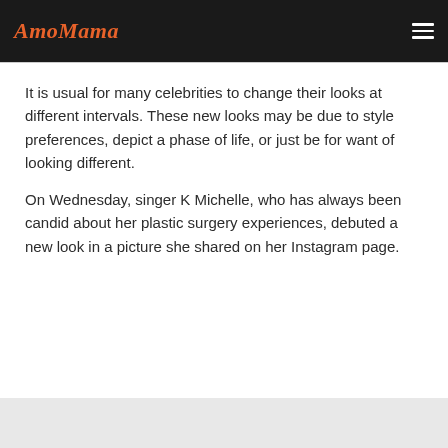AmoMama
It is usual for many celebrities to change their looks at different intervals. These new looks may be due to style preferences, depict a phase of life, or just be for want of looking different.
On Wednesday, singer K Michelle, who has always been candid about her plastic surgery experiences, debuted a new look in a picture she shared on her Instagram page.